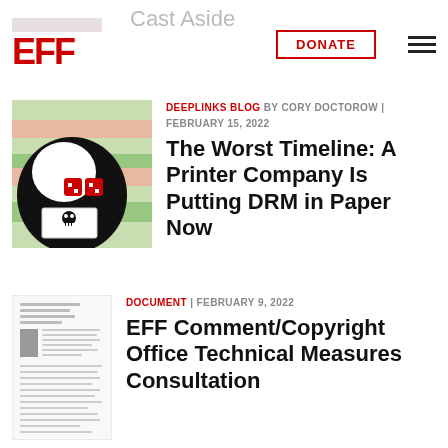EFF | Cast Aside | DONATE
[Figure (illustration): EFF article thumbnail: cartoon illustration of a printer with a skull-and-crossbones symbol being printed, with striped background in greens and pinks]
DEEPLINKS BLOG BY CORY DOCTOROW | FEBRUARY 15, 2022
The Worst Timeline: A Printer Company Is Putting DRM in Paper Now
[Figure (screenshot): Thumbnail of a legal/government document page with text lines and a gray block on the left side]
DOCUMENT | FEBRUARY 9, 2022
EFF Comment/Copyright Office Technical Measures Consultation